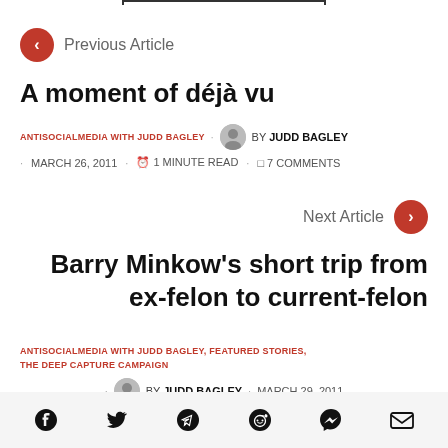Previous Article
A moment of déjà vu
ANTISOCIALMEDIA WITH JUDD BAGLEY · BY JUDD BAGLEY
· MARCH 26, 2011 · 1 MINUTE READ · 7 COMMENTS
Next Article
Barry Minkow's short trip from ex-felon to current-felon
ANTISOCIALMEDIA WITH JUDD BAGLEY, FEATURED STORIES, THE DEEP CAPTURE CAMPAIGN
· BY JUDD BAGLEY · MARCH 29, 2011
· 7 MINUTE READ · 36 COMMENTS
[Figure (other): Social sharing icons: Facebook, Twitter, Telegram, Reddit, Messenger, Email]